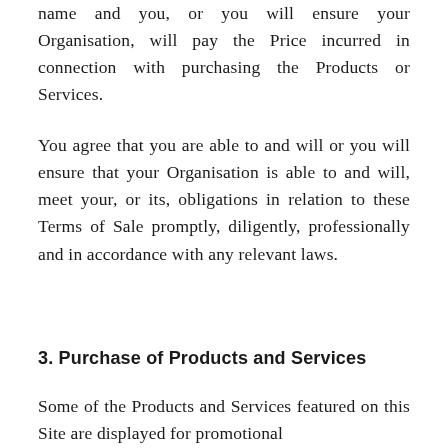name and you, or you will ensure your Organisation, will pay the Price incurred in connection with purchasing the Products or Services.
You agree that you are able to and will or you will ensure that your Organisation is able to and will, meet your, or its, obligations in relation to these Terms of Sale promptly, diligently, professionally and in accordance with any relevant laws.
3. Purchase of Products and Services
Some of the Products and Services featured on this Site are displayed for promotional